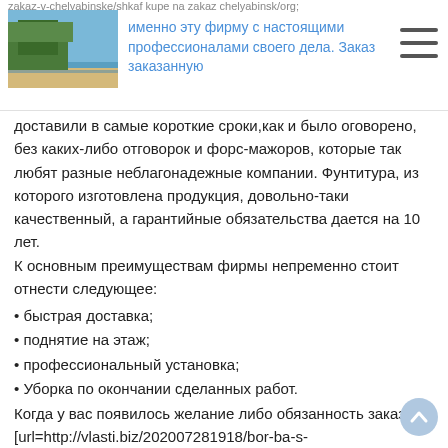zakaz-v-chelyabinske/shkaf kupe na zakaz chelyabinsk/org; именно эту фирму с настоящими профессионалами своего дела. Заказ заказанную
доставили в самые короткие сроки,как и было оговорено, без каких-либо отговорок и форс-мажоров, которые так любят разные неблагонадежные компании. Фунтитура, из которого изготовлена продукция, довольно-таки качественный, а гарантийные обязательства дается на 10 лет.
К основным преимуществам фирмы непременно стоит отнести следующее:
• быстрая доставка;
• поднятие на этаж;
• профессиональный установка;
• Уборка по окончании сделанных работ.
Когда у вас появилось желание либо обязанность заказать [url=http://vlasti.biz/202007281918/bor-ba-s-korruptsciei/novosti/mebel-na-zakaz.html]Шкаф купе на заказ Челябинск[/url], то я непременно рекомендую обращаться лишь в эту компанию! Тогда вы сможете получить отличное соответствие цены и качества!